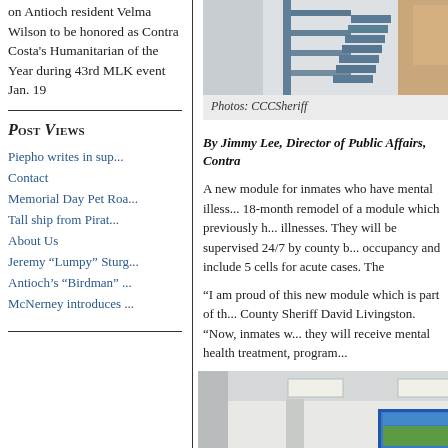on Antioch resident Velma Wilson to be honored as Contra Costa's Humanitarian of the Year during 43rd MLK event Jan. 19
Post Views
Piepho writes in sup...
Contact
Memorial Day Pet Roa...
Tall ship from Pirat...
About Us
Jeremy “Lumpy” Sturg...
Antioch’s “Birdman” ...
McNerney introduces ...
[Figure (photo): Interior photo of jail module showing metal stairs and railing with light walls]
Photos: CCCSheriff
By Jimmy Lee, Director of Public Affairs, Contra
A new module for inmates who have mental illness... 18-month remodel of a module which previously h... illnesses. They will be supervised 24/7 by county b... occupancy and include 5 cells for acute cases. The
“I am proud of this new module which is part of th... County Sheriff David Livingston. “Now, inmates w... they will receive mental health treatment, program...
[Figure (photo): Interior photo of the new jail mental health module showing common area with seating, TV on wall, high ceiling with lights, and stairs]